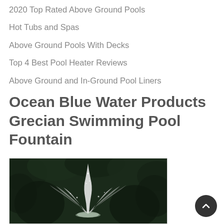2020 Top Rated Above Ground Pools
Hot Tubs and Spas
Above Ground Pools With Decks
Top 4 Best Pool Heater Reviews
Above Ground and In-Ground Pool Liners
Ocean Blue Water Products Grecian Swimming Pool Fountain
[Figure (photo): Black and white photo of a water fountain spraying upward against a dark leafy background]